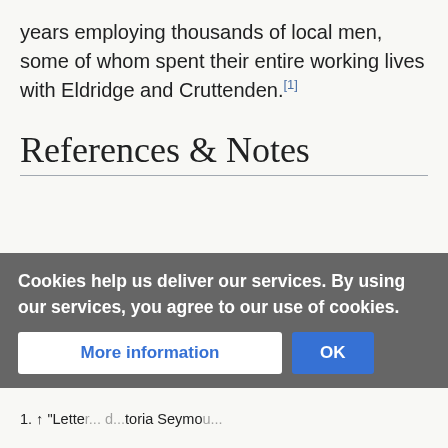years employing thousands of local men, some of whom spent their entire working lives with Eldridge and Cruttenden.[1]
References & Notes
Cookies help us deliver our services. By using our services, you agree to our use of cookies.
1. ↑ "Lette... d...toria Seymo...